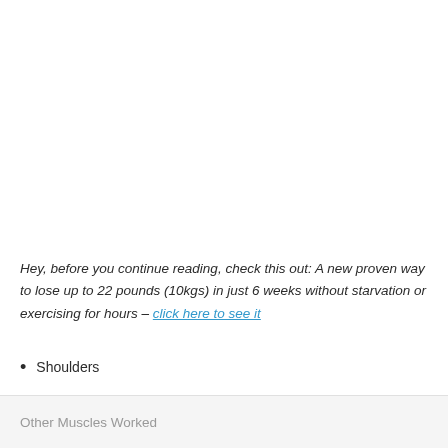Hey, before you continue reading, check this out: A new proven way to lose up to 22 pounds (10kgs) in just 6 weeks without starvation or exercising for hours – click here to see it
Shoulders
Other Muscles Worked